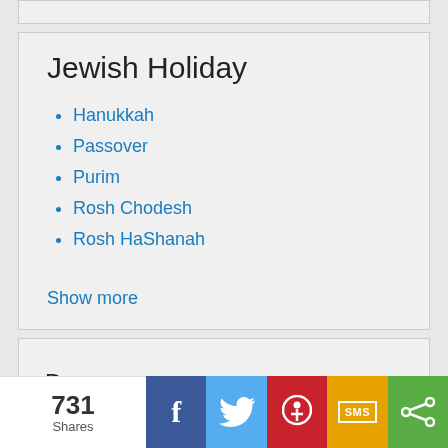Jewish Holiday
Hanukkah
Passover
Purim
Rosh Chodesh
Rosh HaShanah
Show more
731 Shares  f  [twitter]  [pinterest]  SMS  [share]